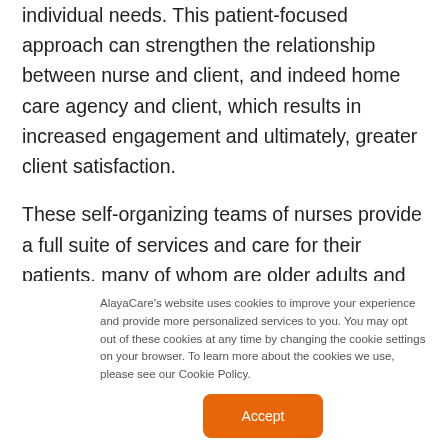individual needs. This patient-focused approach can strengthen the relationship between nurse and client, and indeed home care agency and client, which results in increased engagement and ultimately, greater client satisfaction.
These self-organizing teams of nurses provide a full suite of services and care for their patients, many of whom are older adults and those with great limitations. Nurses are the key in determining the
AlayaCare's website uses cookies to improve your experience and provide more personalized services to you. You may opt out of these cookies at any time by changing the cookie settings on your browser. To learn more about the cookies we use, please see our Cookie Policy.